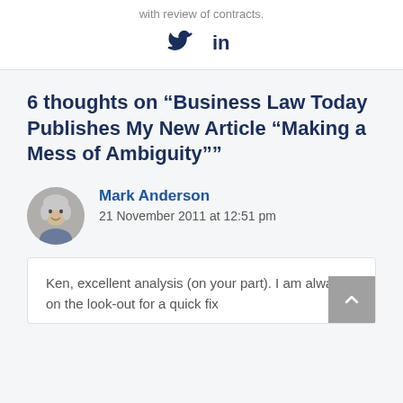with review of contracts.
[Figure (other): Twitter and LinkedIn social media icons]
6 thoughts on “Business Law Today Publishes My New Article “Making a Mess of Ambiguity””
[Figure (photo): Circular avatar photo of Mark Anderson]
Mark Anderson
21 November 2011 at 12:51 pm
Ken, excellent analysis (on your part).  I am always on the look-out for a quick fix